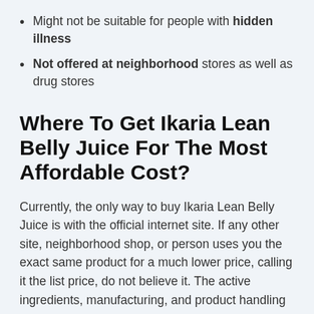Might not be suitable for people with hidden illness
Not offered at neighborhood stores as well as drug stores
Where To Get Ikaria Lean Belly Juice For The Most Affordable Cost?
Currently, the only way to buy Ikaria Lean Belly Juice is with the official internet site. If any other site, neighborhood shop, or person uses you the exact same product for a much lower price, calling it the list price, do not believe it. The active ingredients, manufacturing, and product handling